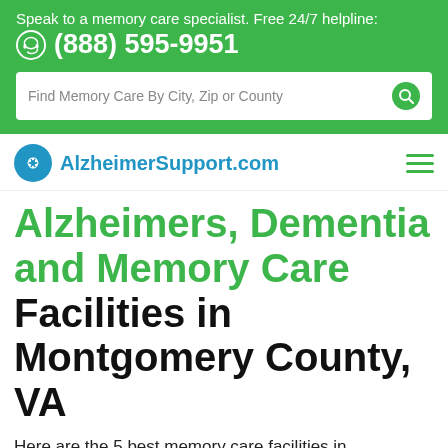Speak to a memory care specialist. Free 24/7 helpline: (888) 595-9951
Find Memory Care By City, Zip or County
AlzheimerSupport.com
Alzheimers, Dementia and Memory Care Facilities in Montgomery County, VA
Here are the 5 best memory care facilities in Montgomery County, Virginia. These care homes for dementia and Alzheimer in Montgomery